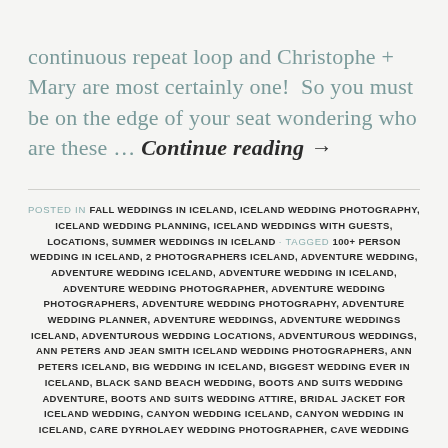continuous repeat loop and Christophe + Mary are most certainly one!  So you must be on the edge of your seat wondering who are these … Continue reading →
POSTED IN FALL WEDDINGS IN ICELAND, ICELAND WEDDING PHOTOGRAPHY, ICELAND WEDDING PLANNING, ICELAND WEDDINGS WITH GUESTS, LOCATIONS, SUMMER WEDDINGS IN ICELAND · TAGGED 100+ PERSON WEDDING IN ICELAND, 2 PHOTOGRAPHERS ICELAND, ADVENTURE WEDDING, ADVENTURE WEDDING ICELAND, ADVENTURE WEDDING IN ICELAND, ADVENTURE WEDDING PHOTOGRAPHER, ADVENTURE WEDDING PHOTOGRAPHERS, ADVENTURE WEDDING PHOTOGRAPHY, ADVENTURE WEDDING PLANNER, ADVENTURE WEDDINGS, ADVENTURE WEDDINGS ICELAND, ADVENTUROUS WEDDING LOCATIONS, ADVENTUROUS WEDDINGS, ANN PETERS AND JEAN SMITH ICELAND WEDDING PHOTOGRAPHERS, ANN PETERS ICELAND, BIG WEDDING IN ICELAND, BIGGEST WEDDING EVER IN ICELAND, BLACK SAND BEACH WEDDING, BOOTS AND SUITS WEDDING ADVENTURE, BOOTS AND SUITS WEDDING ATTIRE, BRIDAL JACKET FOR ICELAND WEDDING, CANYON WEDDING ICELAND, CANYON WEDDING IN ICELAND, CARE DYRHOLAEY WEDDING PHOTOGRAPHER, CAVE WEDDING